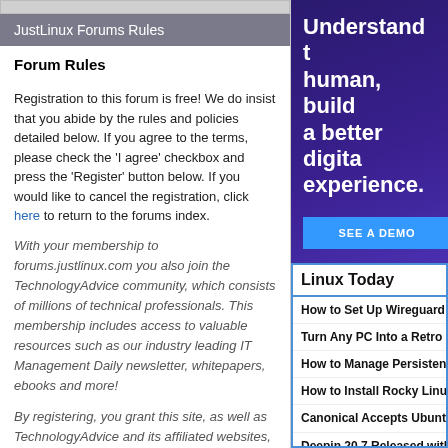JustLinux Forums Rules
Forum Rules
Registration to this forum is free! We do insist that you abide by the rules and policies detailed below. If you agree to the terms, please check the 'I agree' checkbox and press the 'Register' button below. If you would like to cancel the registration, click here to return to the forums index.
With your membership to forums.justlinux.com you also join the TechnologyAdvice community, which consists of millions of technical professionals. This membership includes access to valuable resources such as our industry leading IT Management Daily newsletter, whitepapers, ebooks and more!
By registering, you grant this site, as well as TechnologyAdvice and its affiliated websites, the right to communicate to you information we deem might be of interest. Should you
[Figure (infographic): Purple gradient advertisement banner with bold white text reading 'Understand the human, build a better digital experience.' and a blue 'SEE A DEMO' button.]
Linux Today
How to Set Up Wireguard V
Turn Any PC Into a Retro G
How to Manage Persistent
How to Install Rocky Linux
Canonical Accepts Ubuntu
Deepin 20.7 Released with
OBS Studio 28.0 Released Encoding
Nitrux 2.4 Released with Li
Armbian 22.08 Brings Linux Plasma
Ubuntu 20.04.5 LTS Releas